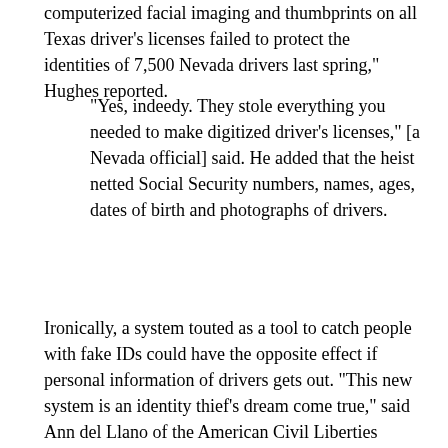computerized facial imaging and thumbprints on all Texas driver's licenses failed to protect the identities of 7,500 Nevada drivers last spring," Hughes reported.
"Yes, indeedy. They stole everything you needed to make digitized driver's licenses," [a Nevada official] said. He added that the heist netted Social Security numbers, names, ages, dates of birth and photographs of drivers.
Ironically, a system touted as a tool to catch people with fake IDs could have the opposite effect if personal information of drivers gets out. "This new system is an identity thief's dream come true," said Ann del Llano of the American Civil Liberties Union of Texas. "Now any good identity thief in the world has a new database that's going to be one of the largest databases that exists."
That the authority it...